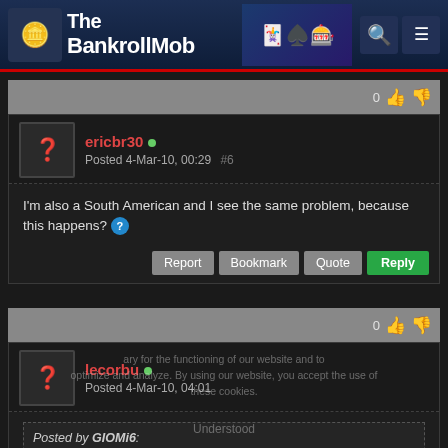The BankrollMob
ericbr30 • Posted 4-Mar-10, 00:29 #6
I'm also a South American and I see the same problem, because this happens? [?]
lecorbu • Posted 4-Mar-10, 04:01
Posted by GIOMi6: Are there moer free bankroll providers, who are more friendly to all countries? I live in South America and there is not much choice in the case of Free Bankroll providers.
there are more providers searching for users from rich countris, the money is a objetive, poker is a bussisnes not a donation